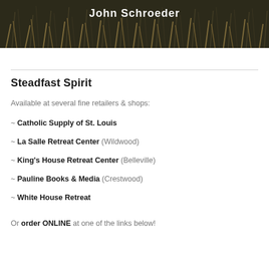[Figure (photo): Background photo of tall grass/reeds with dark moody tones, with white bold text overlay reading 'John Schroeder']
Steadfast Spirit
Available at several fine retailers & shops:
~ Catholic Supply of St. Louis
~ La Salle Retreat Center (Wildwood)
~ King's House Retreat Center (Belleville)
~ Pauline Books & Media (Crestwood)
~ White House Retreat
Or order ONLINE at one of the links below!